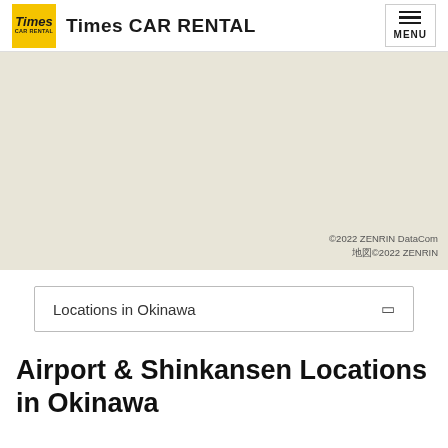Times CAR RENTAL
[Figure (map): A map background in beige/tan color showing a geographic area, with copyright notice: ©2022 ZENRIN DataCom / ©2022 ZENRIN]
©2022 ZENRIN DataCom
地図©2022 ZENRIN
Locations in Okinawa
Airport & Shinkansen Locations in Okinawa